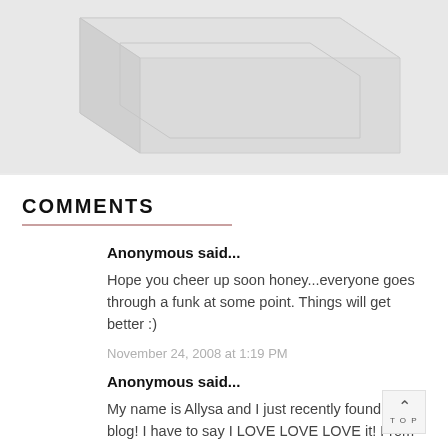[Figure (photo): A partial view of a light-gray geometric object or box on a white/light gray background, photographed from above at an angle.]
COMMENTS
Anonymous said...
Hope you cheer up soon honey...everyone goes through a funk at some point. Things will get better :)
November 24, 2008 at 1:19 PM
Anonymous said...
My name is Allysa and I just recently found your blog! I have to say I LOVE LOVE LOVE it! From your daily life to Twilight, it's all good! I don't feel bad now that I